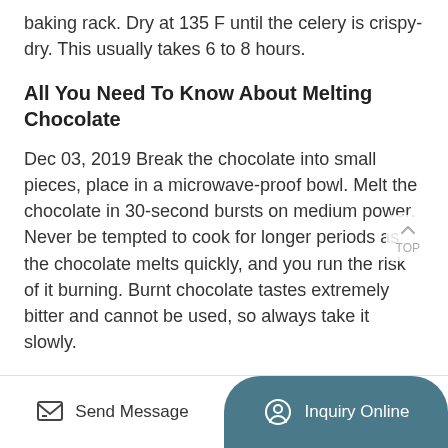baking rack. Dry at 135 F until the celery is crispy-dry. This usually takes 6 to 8 hours.
All You Need To Know About Melting Chocolate
Dec 03, 2019 Break the chocolate into small pieces, place in a microwave-proof bowl. Melt the chocolate in 30-second bursts on medium power. Never be tempted to cook for longer periods as the chocolate melts quickly, and you run the risk of it burning. Burnt chocolate tastes extremely bitter and cannot be used, so always take it slowly.
How To Press Bubble Hash Into Hash Rosin - Hashtek
Send Message
Inquiry Online